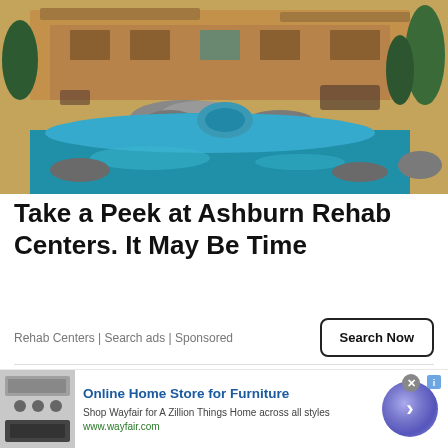[Figure (photo): Aerial view of a luxury home with a large swimming pool and spa, surrounded by stone landscaping and palm trees]
Take a Peek at Ashburn Rehab Centers. It May Be Time
Rehab Centers | Search ads | Sponsored
Search Now
[Figure (photo): Dark background with a portable SSD device, showing the text 'Portable SSD']
[Figure (photo): Wayfair advertisement banner: Online Home Store for Furniture. Shop Wayfair for A Zillion Things Home across all styles. www.wayfair.com]